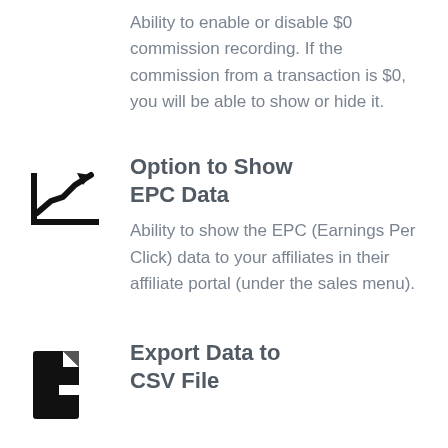Ability to enable or disable $0 commission recording. If the commission from a transaction is $0, you will be able to show or hide it.
[Figure (illustration): Line chart icon with upward trending arrow, black silhouette]
Option to Show EPC Data
Ability to show the EPC (Earnings Per Click) data to your affiliates in their affiliate portal (under the sales menu).
[Figure (illustration): File export icon with arrow pointing right, black silhouette]
Export Data to CSV File